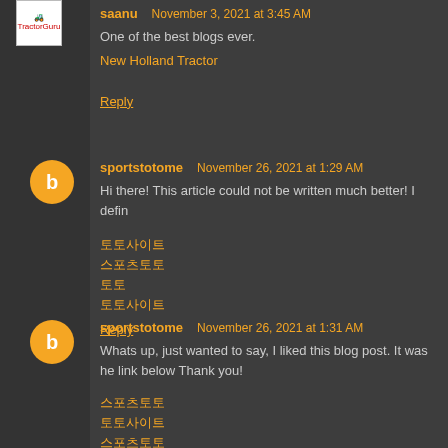saanu November 3, 2021 at 3:45 AM
One of the best blogs ever.
New Holland Tractor
Reply
sportstotome November 26, 2021 at 1:29 AM
Hi there! This article could not be written much better! I defin
토토사이트
스포츠토토
토토
토토사이트
Reply
sportstotome November 26, 2021 at 1:31 AM
Whats up, just wanted to say, I liked this blog post. It was he link below Thank you!
스포츠토토
토토사이트
스포츠토토